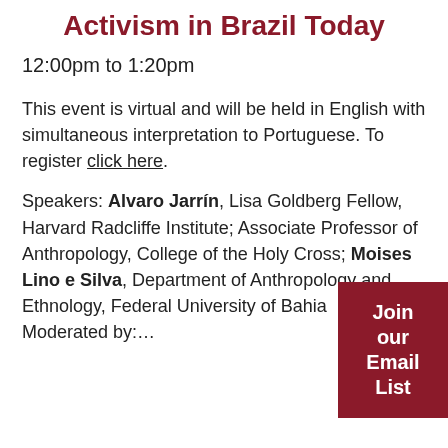Activism in Brazil Today
12:00pm to 1:20pm
This event is virtual and will be held in English with simultaneous interpretation to Portuguese. To register click here.
Speakers: Alvaro Jarrín, Lisa Goldberg Fellow, Harvard Radcliffe Institute; Associate Professor of Anthropology, College of the Holy Cross; Moises Lino e Silva, Department of Anthropology and Ethnology, Federal University of Bahia Moderated by:...
Join our Email List